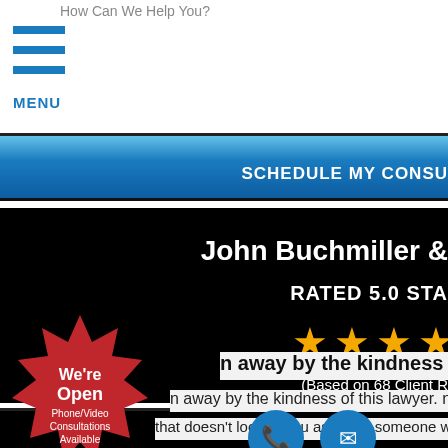How Can We Help You?
[Figure (screenshot): Mobile website navigation with blue hamburger menu icon and MENU label]
[Figure (screenshot): Blue gradient SCHEDULE MY CONSULTATION button]
[Figure (screenshot): Black banner with white bold text: John Buchmiller &, RATED 5.0 STA, four gold stars, (Based on 68 Client R]
[Figure (screenshot): Black banner with white bold text: Client Revi]
n away by the kindness of this lawye
n away by the kindness of this lawyer. nt be
that doesn't look at you as $, but someone who really cares
[Figure (infographic): Red starburst badge with text: We're Open, Phone/Video Consultations Available]
[Figure (infographic): Blue circular phone icon and blue circular mail icon]